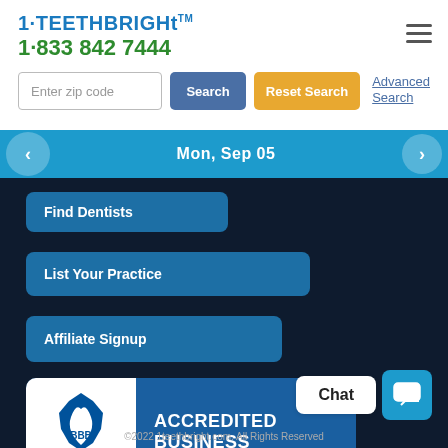[Figure (logo): 1TeethBright logo with phone number 1-833 842 7444]
[Figure (screenshot): Hamburger menu icon (three horizontal lines)]
Enter zip code
[Figure (screenshot): Search button (blue), Reset Search button (orange), Advanced Search link]
Mon, Sep 05
Find Dentists
List Your Practice
Affiliate Signup
[Figure (logo): BBB Accredited Business badge with blue background, white BBB logo area. Text: ACCREDITED BUSINESS]
Rating: A+
Chat
©2022 1teethbright.com. All Rights Reserved